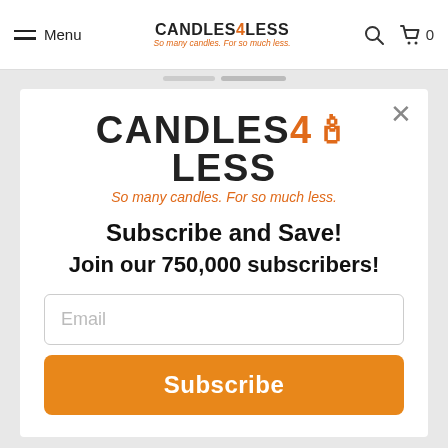Menu | CANDLES4LESS So many candles. For so much less. [search] [cart] 0
[Figure (logo): CANDLES4LESS logo with tagline: So many candles. For so much less.]
Subscribe and Save!
Join our 750,000 subscribers!
Email
Subscribe